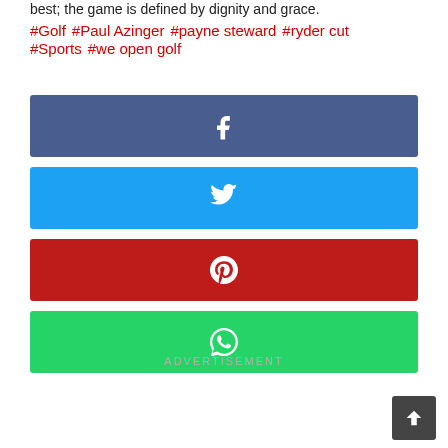best; the game is defined by dignity and grace.
#Golf  #Paul Azinger  #payne steward  #ryder cut  #Sports  #we open golf
[Figure (infographic): Four social media share buttons: Facebook (dark blue), Twitter (light blue), Pinterest (dark red), WhatsApp (green), each with its respective icon centered.]
ADVERTISEMENT